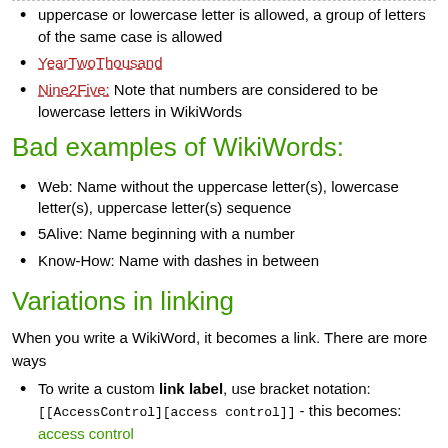uppercase or lowercase letter is allowed, a group of letters of the same case is allowed
YearTwoThousand
Nine2Five: Note that numbers are considered to be lowercase letters in WikiWords
Bad examples of WikiWords:
Web: Name without the uppercase letter(s), lowercase letter(s), uppercase letter(s) sequence
5Alive: Name beginning with a number
Know-How: Name with dashes in between
Variations in linking
When you write a WikiWord, it becomes a link. There are more ways
To write a custom link label, use bracket notation: [[AccessControl][access control]] - this becomes: access control